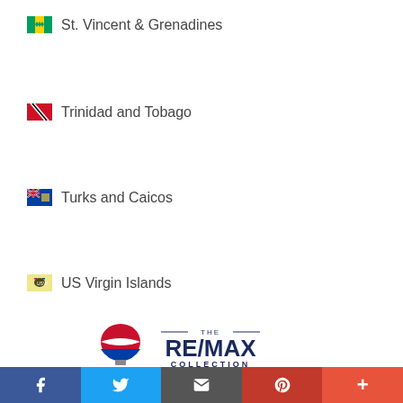St. Vincent & Grenadines
Trinidad and Tobago
Turks and Caicos
US Virgin Islands
[Figure (logo): RE/MAX THE COLLECTION logo with hot air balloon icon]
Social share bar: Facebook, Twitter, Email, Pinterest, More